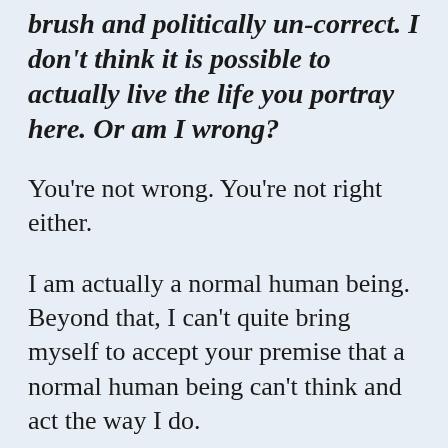brush and politically un-correct. I don't think it is possible to actually live the life you portray here.  Or am I wrong?
You're not wrong. You're not right either.
I am actually a normal human being. Beyond that, I can't quite bring myself to accept your premise that a normal human being can't think and act the way I do.
I don't know what it's like where you're from, but bitches like me are a dime a dozen out here. I've just